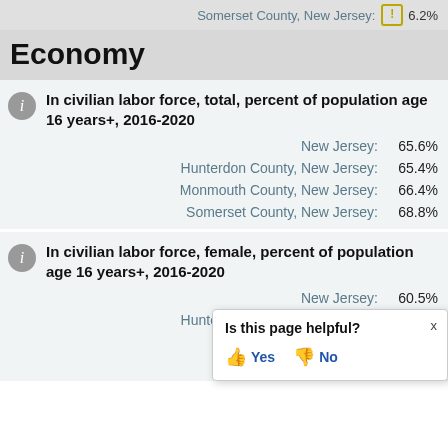Somerset County, New Jersey: ⚠ 6.2%
Economy
In civilian labor force, total, percent of population age 16 years+, 2016-2020
| Location | Value |
| --- | --- |
| New Jersey: | 65.6% |
| Hunterdon County, New Jersey: | 65.4% |
| Monmouth County, New Jersey: | 66.4% |
| Somerset County, New Jersey: | 68.8% |
In civilian labor force, female, percent of population age 16 years+, 2016-2020
| Location | Value |
| --- | --- |
| New Jersey: | 60.5% |
| Hunterdon County, New Jersey: | 62.3% |
| Monmouth County, | (partially visible) |
| Somerset County, | (partially visible) |
Is this page helpful? Yes No